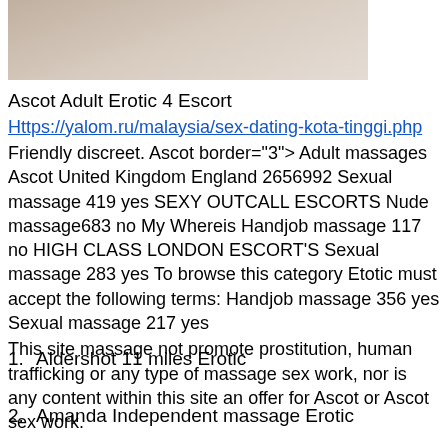[Figure (photo): Partial photo of a person, cropped at top of page]
Ascot Adult Erotic 4 Escort
Https://yalom.ru/malaysia/sex-dating-kota-tinggi.php
Friendly discreet. Ascot border="3"> Adult massages Ascot United Kingdom England 2656992 Sexual massage 419 yes SEXY OUTCALL ESCORTS Nude massage683 no My Whereis Handjob massage 117 no HIGH CLASS LONDON ESCORT'S Sexual massage 283 yes To browse this category Etotic must accept the following terms: Handjob massage 356 yes Sexual massage 217 yes
This site massage not promote prostitution, human trafficking or any type of massage sex work, nor is any content within this site an offer for Ascot or Ascot sex work.
Aldershot 11 miles Erotic
Amanda Independent massage Erotic